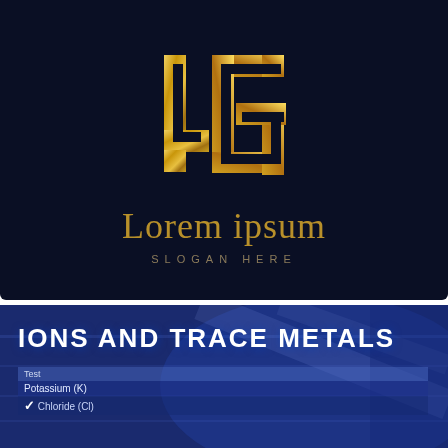[Figure (logo): Dark navy background with gold geometric JG monogram logo. Below the logo: text 'Lorem ipsum' in gold serif font and 'SLOGAN HERE' in small spaced uppercase letters.]
[Figure (photo): Blue-toned lab/medical background with bold white text 'IONS AND TRACE METALS' overlaid. Below are partial table rows showing 'Test', 'Potassium (K)', and 'Chloride (Cl)' entries with a white checkmark visible.]